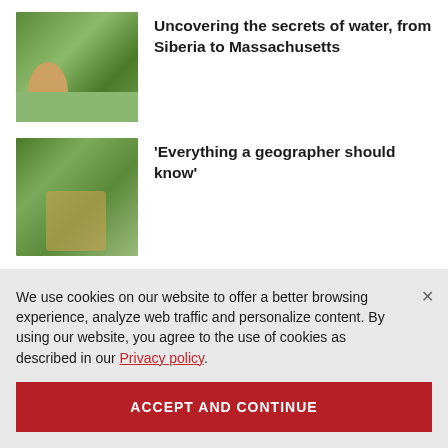[Figure (photo): Person crouching by a stream in a green forest, collecting water samples]
Uncovering the secrets of water, from Siberia to Massachusetts
[Figure (photo): Group of people in colourful clothing walking through a lush green forest]
‘Everything a geographer should know’
More from this topic ›
We use cookies on our website to offer a better browsing experience, analyze web traffic and personalize content. By using our website, you agree to the use of cookies as described in our Privacy policy.
ACCEPT AND CONTINUE